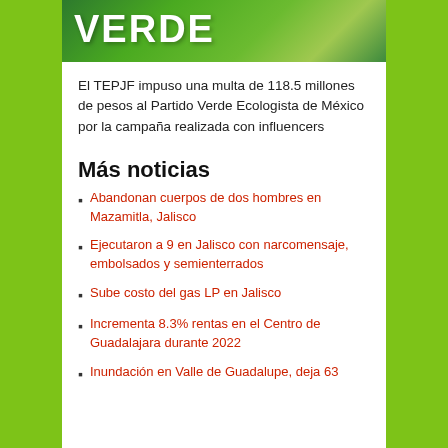[Figure (photo): Image showing the Partido Verde Ecologista de México logo/banner with green background and white VERDE text]
El TEPJF impuso una multa de 118.5 millones de pesos al Partido Verde Ecologista de México por la campaña realizada con influencers
Más noticias
Abandonan cuerpos de dos hombres en Mazamitla, Jalisco
Ejecutaron a 9 en Jalisco con narcomensaje, embolsados y semienterrados
Sube costo del gas LP en Jalisco
Incrementa 8.3% rentas en el Centro de Guadalajara durante 2022
Inundación en Valle de Guadalupe, deja 63